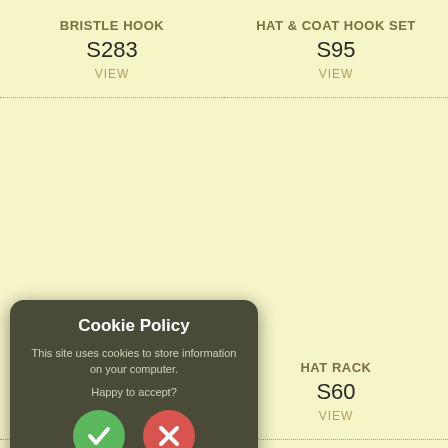BRISTLE HOOK
S283
VIEW
HAT & COAT HOOK SET
S95
VIEW
[Figure (screenshot): Cookie Policy popup overlay with title 'Cookie Policy', body text 'This site uses cookies to store information on your computer.', question 'Happy to accept?' and two circular buttons: green checkmark (accept) and red X (reject)]
STAND
S0033
VIEW
HAT RACK
S60
VIEW